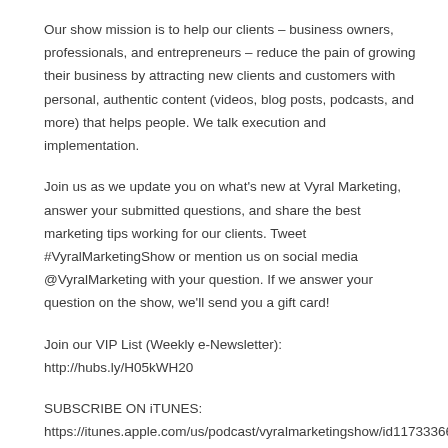Our show mission is to help our clients – business owners, professionals, and entrepreneurs – reduce the pain of growing their business by attracting new clients and customers with personal, authentic content (videos, blog posts, podcasts, and more) that helps people. We talk execution and implementation.
Join us as we update you on what's new at Vyral Marketing, answer your submitted questions, and share the best marketing tips working for our clients. Tweet #VyralMarketingShow or mention us on social media @VyralMarketing with your question. If we answer your question on the show, we'll send you a gift card!
Join our VIP List (Weekly e-Newsletter): http://hubs.ly/H05kWH20
SUBSCRIBE ON iTUNES:
https://itunes.apple.com/us/podcast/vyralmarketingshow/id1173336666